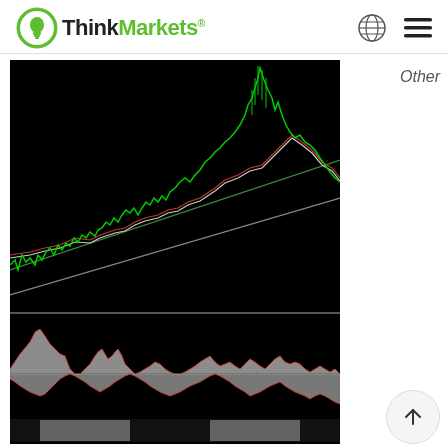ThinkMarkets
Other
[Figure (continuous-plot): Price chart on black background showing a green candlestick/line chart with an upward trend, two moving average lines (white and red), and a green diagonal support trendline. The price rises from lower-left to a sharp spike at upper-right, then pulls back slightly.]
[Figure (continuous-plot): Volume/oscillator chart on black background showing white/grey filled area chart with red outline line beneath the main price chart, displaying oscillating volume histogram with alternating peaks and troughs.]